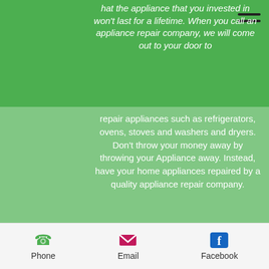hat the appliance that you invested in won't last for a lifetime. When you call an appliance repair company, we will come out to your door to repair appliances such as refrigerators, ovens, stoves and washers and dryers. Don't throw your money away by throwing your Appliance away. Instead, have your home appliances repaired by a quality appliance repair company.
How To Get An Appliance Repaired
When an appliance breaks in your home, you may be wondering how to get your appliance repaired. Fast
Phone   Email   Facebook